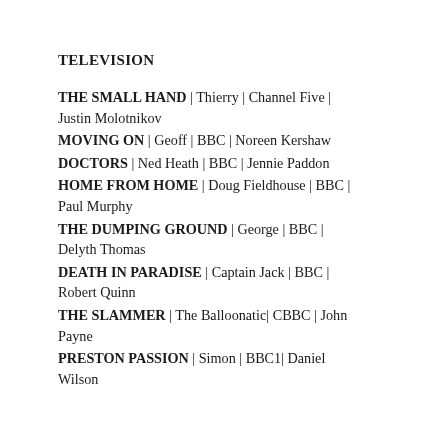TELEVISION
THE SMALL HAND | Thierry | Channel Five | Justin Molotnikov
MOVING ON | Geoff | BBC | Noreen Kershaw
DOCTORS | Ned Heath | BBC | Jennie Paddon
HOME FROM HOME | Doug Fieldhouse | BBC | Paul Murphy
THE DUMPING GROUND | George | BBC | Delyth Thomas
DEATH IN PARADISE | Captain Jack | BBC | Robert Quinn
THE SLAMMER | The Balloonatic| CBBC | John Payne
PRESTON PASSION | Simon | BBC1| Daniel Wilson